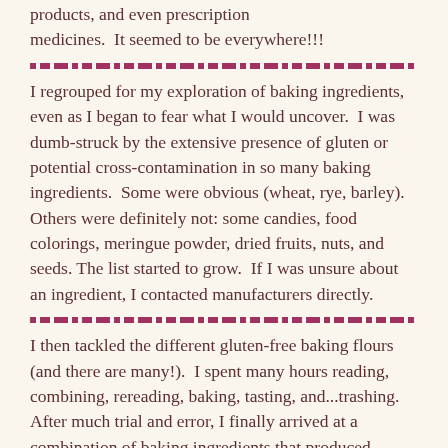products, and even prescription medicines.  It seemed to be everywhere!!!
I regrouped for my exploration of baking ingredients, even as I began to fear what I would uncover.  I was dumb-struck by the extensive presence of gluten or potential cross-contamination in so many baking ingredients.  Some were obvious (wheat, rye, barley).  Others were definitely not: some candies, food colorings, meringue powder, dried fruits, nuts, and seeds. The list started to grow.  If I was unsure about an ingredient, I contacted manufacturers directly.
I then tackled the different gluten-free baking flours (and there are many!).  I spent many hours reading, combining, rereading, baking, tasting, and...trashing.  After much trial and error, I finally arrived at a combination of baking ingredients that produced tender, light, moist, and yummy confections.  I fulfilled my promise to my son.